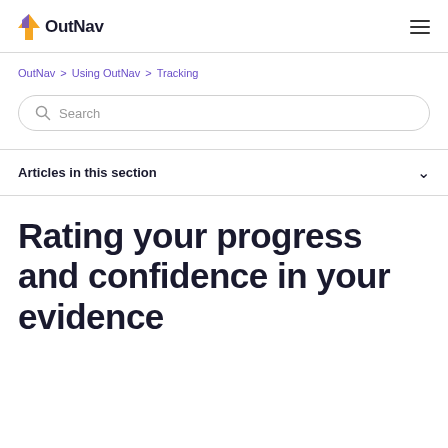OutNav
OutNav > Using OutNav > Tracking
Search
Articles in this section
Rating your progress and confidence in your evidence